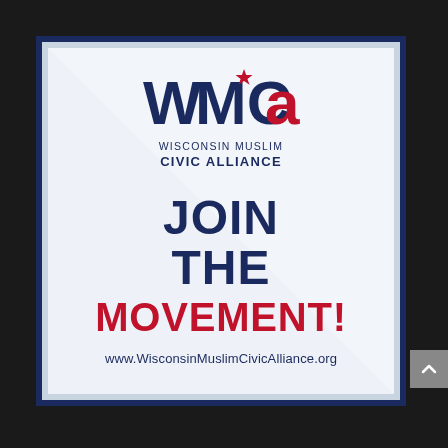[Figure (logo): Wisconsin Muslim Civic Alliance (WMCA) promotional card with logo, 'JOIN THE MOVEMENT!' slogan, and website URL. The card has a light blue/white background with a diagonal shadow overlay, dark navy border, and contains the WMCA logo at top, bold navy and red text for the slogan, and the website www.WisconsinMuslimCivicAlliance.org at the bottom.]